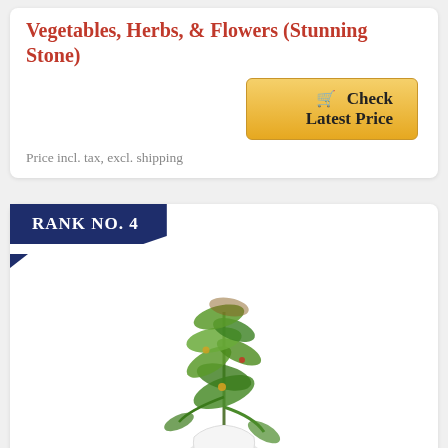Vegetables, Herbs, & Flowers (Stunning Stone)
Check Latest Price
Price incl. tax, excl. shipping
RANK NO. 4
[Figure (photo): Lettuce Grow Farmstand hydroponic tower with lush green plants growing from a white vase-like base]
Lettuce Grow Farmstand 36-Plant Hydroponic Growing System Kit | Outdoor Indoor Vertical Garden | Herb